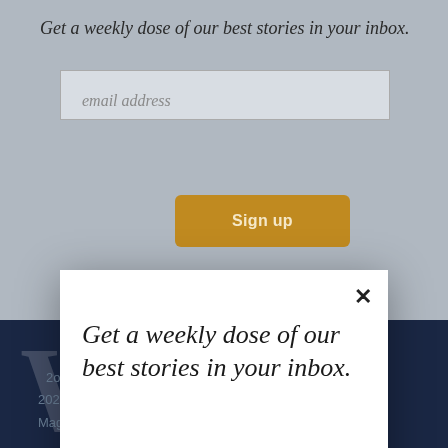Get a weekly dose of our best stories in your inbox.
[Figure (screenshot): Email newsletter signup form with input field and golden Sign up button on grey background]
[Figure (screenshot): Modal dialog overlay with close X button, italic headline 'Get a weekly dose of our best stories in your inbox.', email address input field, and golden Sign up button]
2020 Hospital Guide and Rankings
Magazine
Current Issue